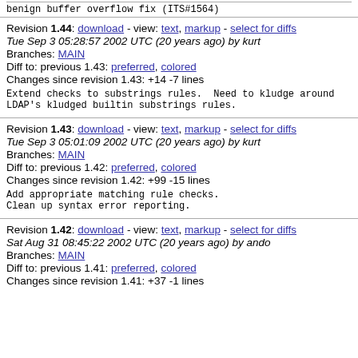benign buffer overflow fix (ITS#1564)
Revision 1.44: download - view: text, markup - select for diffs
Tue Sep 3 05:28:57 2002 UTC (20 years ago) by kurt
Branches: MAIN
Diff to: previous 1.43: preferred, colored
Changes since revision 1.43: +14 -7 lines
Extend checks to substrings rules.  Need to kludge around
LDAP's kludged builtin substrings rules.
Revision 1.43: download - view: text, markup - select for diffs
Tue Sep 3 05:01:09 2002 UTC (20 years ago) by kurt
Branches: MAIN
Diff to: previous 1.42: preferred, colored
Changes since revision 1.42: +99 -15 lines
Add appropriate matching rule checks.
Clean up syntax error reporting.
Revision 1.42: download - view: text, markup - select for diffs
Sat Aug 31 08:45:22 2002 UTC (20 years ago) by ando
Branches: MAIN
Diff to: previous 1.41: preferred, colored
Changes since revision 1.41: +37 -1 lines